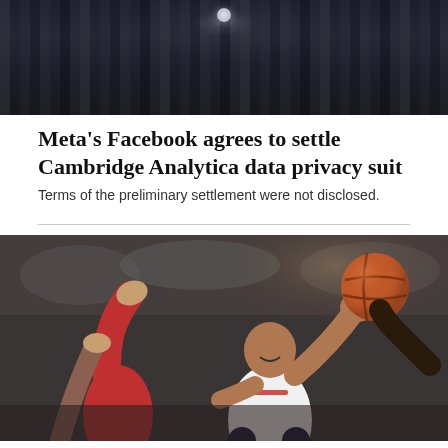[Figure (photo): Dark dramatic photo with curtain-like vertical stripes and a faint moon/light at the top center]
Meta's Facebook agrees to settle Cambridge Analytica data privacy suit
Terms of the preliminary settlement were not disclosed.
[Figure (photo): Basketball game action photo showing a player going up for a layup holding the ball, with a defending player's arm raised, crowd blurred in background]